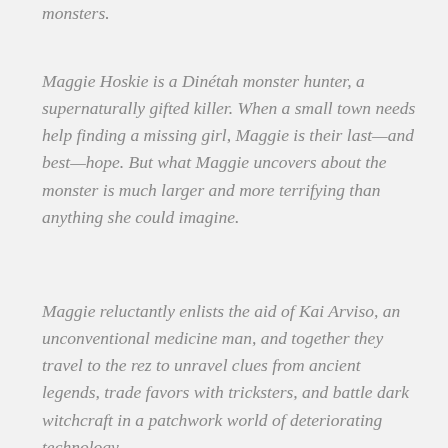monsters.
Maggie Hoskie is a Dinétah monster hunter, a supernaturally gifted killer. When a small town needs help finding a missing girl, Maggie is their last—and best—hope. But what Maggie uncovers about the monster is much larger and more terrifying than anything she could imagine.
Maggie reluctantly enlists the aid of Kai Arviso, an unconventional medicine man, and together they travel to the rez to unravel clues from ancient legends, trade favors with tricksters, and battle dark witchcraft in a patchwork world of deteriorating technology.